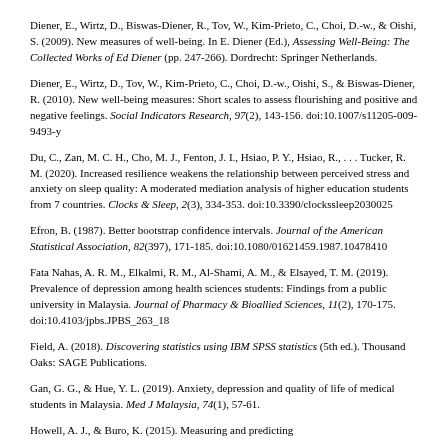Diener, E., Wirtz, D., Biswas-Diener, R., Tov, W., Kim-Prieto, C., Choi, D.-w., & Oishi, S. (2009). New measures of well-being. In E. Diener (Ed.), Assessing Well-Being: The Collected Works of Ed Diener (pp. 247-266). Dordrecht: Springer Netherlands.
Diener, E., Wirtz, D., Tov, W., Kim-Prieto, C., Choi, D.-w., Oishi, S., & Biswas-Diener, R. (2010). New well-being measures: Short scales to assess flourishing and positive and negative feelings. Social Indicators Research, 97(2), 143-156. doi:10.1007/s11205-009-9493-y
Du, C., Zan, M. C. H., Cho, M. J., Fenton, J. I., Hsiao, P. Y., Hsiao, R., . . . Tucker, R. M. (2020). Increased resilience weakens the relationship between perceived stress and anxiety on sleep quality: A moderated mediation analysis of higher education students from 7 countries. Clocks & Sleep, 2(3), 334-353. doi:10.3390/clockssleep2030025
Efron, B. (1987). Better bootstrap confidence intervals. Journal of the American Statistical Association, 82(397), 171-185. doi:10.1080/01621459.1987.10478410
Fata Nahas, A. R. M., Elkalmi, R. M., Al-Shami, A. M., & Elsayed, T. M. (2019). Prevalence of depression among health sciences students: Findings from a public university in Malaysia. Journal of Pharmacy & Bioallied Sciences, 11(2), 170-175. doi:10.4103/jpbs.JPBS_263_18
Field, A. (2018). Discovering statistics using IBM SPSS statistics (5th ed.). Thousand Oaks: SAGE Publications.
Gan, G. G., & Hue, Y. L. (2019). Anxiety, depression and quality of life of medical students in Malaysia. Med J Malaysia, 74(1), 57-61.
Howell, A. J., & Buro, K. (2015). Measuring and predicting